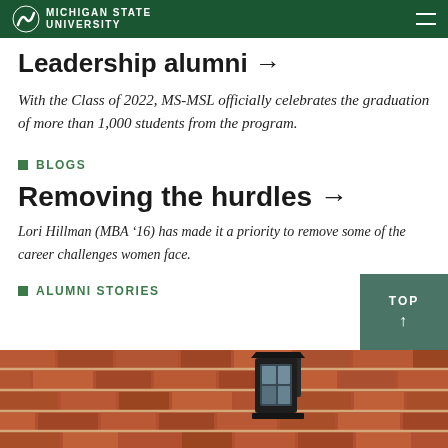MICHIGAN STATE UNIVERSITY
Leadership alumni →
With the Class of 2022, MS-MSL officially celebrates the graduation of more than 1,000 students from the program.
BLOGS
Removing the hurdles →
Lori Hillman (MBA '16) has made it a priority to remove some of the career challenges women face.
ALUMNI STORIES
[Figure (photo): Photo of brick wall with a lantern fixture, partial view at bottom of page]